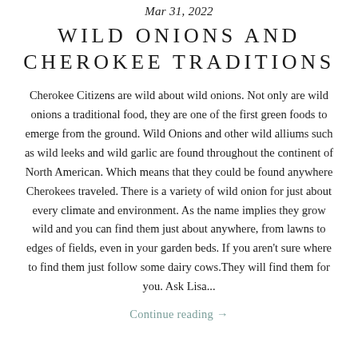Mar 31, 2022
WILD ONIONS AND CHEROKEE TRADITIONS
Cherokee Citizens are wild about wild onions. Not only are wild onions a traditional food, they are one of the first green foods to emerge from the ground. Wild Onions and other wild alliums such as wild leeks and wild garlic are found throughout the continent of North American. Which means that they could be found anywhere Cherokees traveled. There is a variety of wild onion for just about every climate and environment. As the name implies they grow wild and you can find them just about anywhere, from lawns to edges of fields, even in your garden beds. If you aren't sure where to find them just follow some dairy cows.They will find them for you. Ask Lisa...
Continue reading →